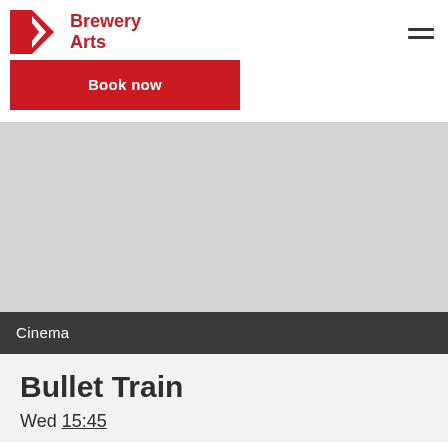Brewery Arts
Book now
[Figure (other): Gray placeholder image for Bullet Train cinema event]
Cinema
Bullet Train
Wed 15:45